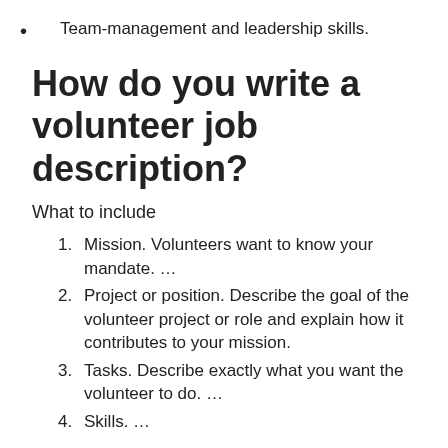Team-management and leadership skills.
How do you write a volunteer job description?
What to include
Mission. Volunteers want to know your mandate. …
Project or position. Describe the goal of the volunteer project or role and explain how it contributes to your mission.
Tasks. Describe exactly what you want the volunteer to do. …
Skills. …